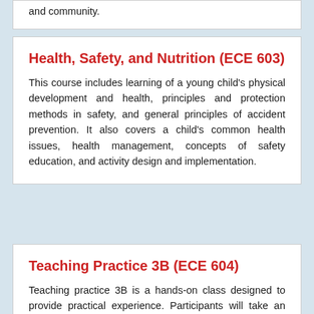and community.
Health, Safety, and Nutrition (ECE 603)
This course includes learning of a young child's physical development and health, principles and protection methods in safety, and general principles of accident prevention. It also covers a child's common health issues, health management, concepts of safety education, and activity design and implementation.
Teaching Practice 3B (ECE 604)
Teaching practice 3B is a hands-on class designed to provide practical experience. Participants will take an internship in a kindergarten in an administrative role, participate in the design and execution of activities, and gain real experience to